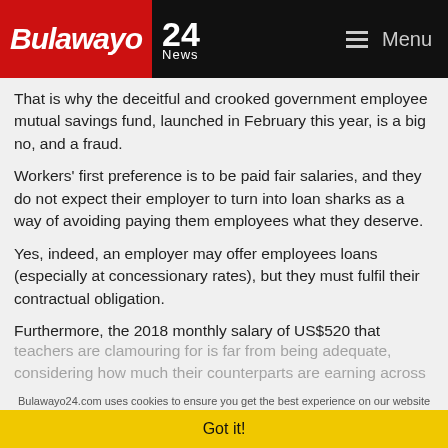Bulawayo 24 News | Menu
That is why the deceitful and crooked government employee mutual savings fund, launched in February this year, is a big no, and a fraud.
Workers' first preference is to be paid fair salaries, and they do not expect their employer to turn into loan sharks as a way of avoiding paying them employees what they deserve.
Yes, indeed, an employer may offer employees loans (especially at concessionary rates), but they must fulfil their contractual obligation.
Furthermore, the 2018 monthly salary of US$520 that teachers are clamouring for is far from being adequate, considering how much their counterparts are earning across the southern African region.
Bulawayo24.com uses cookies to ensure you get the best experience on our website
Got it!